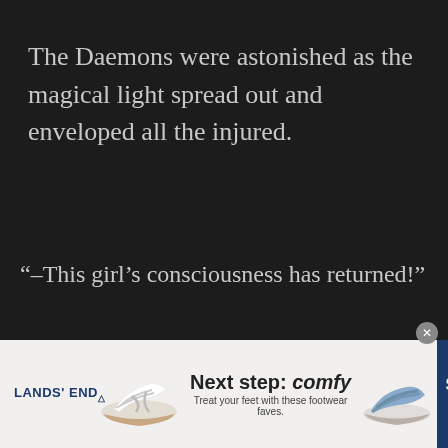The Daemons were astonished as the magical light spread out and enveloped all the injured.
“–This girl’s consciousness has returned!”
[Figure (infographic): Lands' End advertisement banner with two sandal shoes, text 'Next step: comfy - Treat your feet with these footwear faves.' and a 'SHOP NOW' button on dark blue background.]